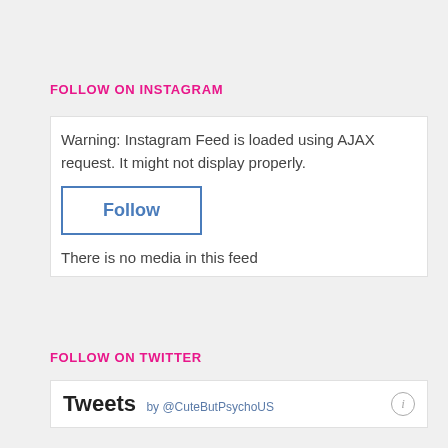FOLLOW ON INSTAGRAM
Warning: Instagram Feed is loaded using AJAX request. It might not display properly.
Follow
There is no media in this feed
FOLLOW ON TWITTER
Tweets by @CuteButPsychoUS